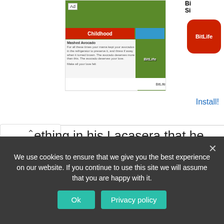[Figure (screenshot): Advertisement banner showing BitLife game app with green background, red 'Childhood' bar, and BitLife logo. A second BitLife icon visible to the right with 'Install!' link below.]
ething in his Lacasera that he was sure the person needed to be whole again.
Mostly, the person would cast a curious a glance, and most times they'd call him and buy, including the drivers, but never their conductors who seem to share a strong affinity with water in transparent sachets.
We use cookies to ensure that we give you the best experience on our website. If you continue to use this site we will assume that you are happy with it.